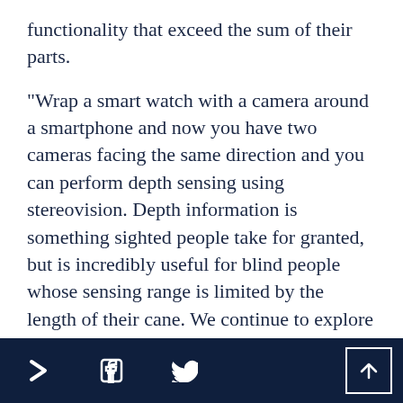functionality that exceed the sum of their parts.

"Wrap a smart watch with a camera around a smartphone and now you have two cameras facing the same direction and you can perform depth sensing using stereovision. Depth information is something sighted people take for granted, but is incredibly useful for blind people whose sensing range is limited by the length of their cane. We continue to explore the use of wearables for developing assistive technology by
> f [twitter] ^